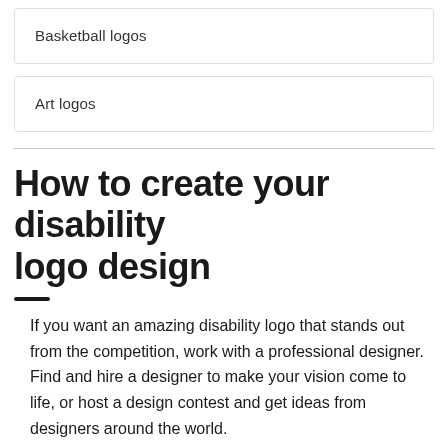Basketball logos
Art logos
How to create your disability logo design
If you want an amazing disability logo that stands out from the competition, work with a professional designer. Find and hire a designer to make your vision come to life, or host a design contest and get ideas from designers around the world.